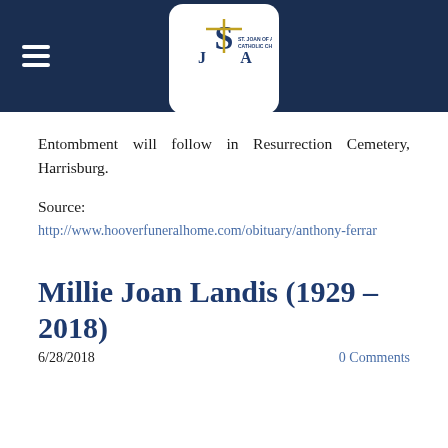[Figure (logo): St. Joan of Arc Catholic Church logo with SJA monogram and cross, white background rounded rectangle on dark navy header bar]
Entombment will follow in Resurrection Cemetery, Harrisburg.
Source:
http://www.hooverfuneralhome.com/obituary/anthony-ferrar
Millie Joan Landis (1929 – 2018)
6/28/2018   0 Comments